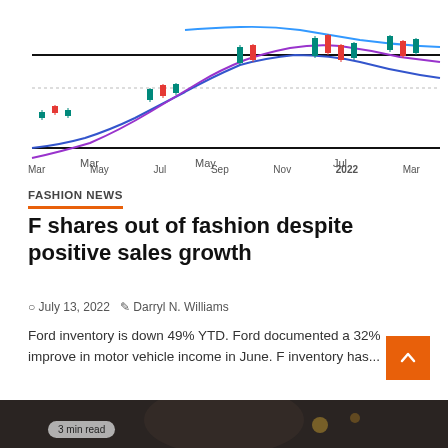[Figure (continuous-plot): Candlestick stock chart showing Ford (F) share price with moving average lines (blue and purple) from March 2021 to March 2022. X-axis labels: Mar, May, Jul, Sep, Nov, 2022, Mar. Price shows upward trend mid-year then decline.]
FASHION NEWS
F shares out of fashion despite positive sales growth
July 13, 2022  Darryl N. Williams
Ford inventory is down 49% YTD. Ford documented a 32% improve in motor vehicle income in June. F inventory has...
[Figure (photo): Dark thumbnail photo of a person, partially visible at the bottom of the page with a '3 min read' badge overlay.]